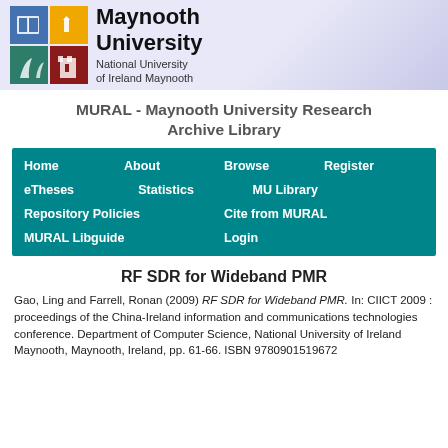[Figure (logo): Maynooth University logo with shield and university name]
MURAL - Maynooth University Research Archive Library
Home About Browse Register eTheses Statistics MU Library Repository Policies Cite from MURAL MURAL Libguide Login
RF SDR for Wideband PMR
Gao, Ling and Farrell, Ronan (2009) RF SDR for Wideband PMR. In: CIICT 2009 : proceedings of the China-Ireland information and communications technologies conference. Department of Computer Science, National University of Ireland Maynooth, Maynooth, Ireland, pp. 61-66. ISBN 9780901519672